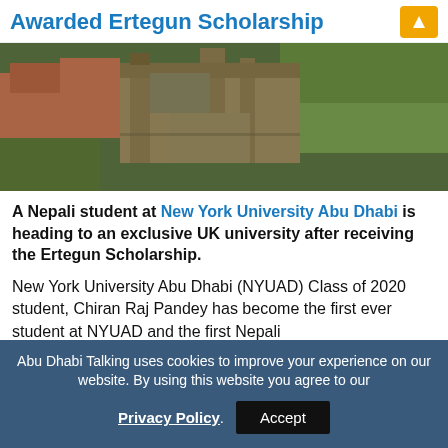Awarded Ertegun Scholarship
[Figure (photo): Aerial photograph of a historic UK university campus with Gothic architecture, green lawns, and stone buildings viewed from above.]
A Nepali student at New York University Abu Dhabi is heading to an exclusive UK university after receiving the Ertegun Scholarship.
New York University Abu Dhabi (NYUAD) Class of 2020 student, Chiran Raj Pandey has become the first ever student at NYUAD and the first Nepali
Abu Dhabi Talking uses cookies to improve your experience on our website. By using this website you agree to our Privacy Policy. Accept